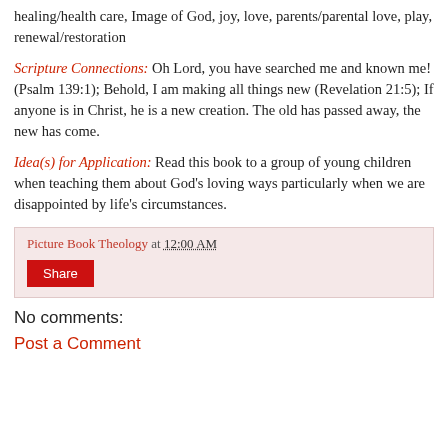healing/health care, Image of God, joy, love, parents/parental love, play, renewal/restoration
Scripture Connections: Oh Lord, you have searched me and known me! (Psalm 139:1); Behold, I am making all things new (Revelation 21:5); If anyone is in Christ, he is a new creation. The old has passed away, the new has come.
Idea(s) for Application: Read this book to a group of young children when teaching them about God’s loving ways particularly when we are disappointed by life’s circumstances.
Picture Book Theology at 12:00 AM
Share
No comments:
Post a Comment